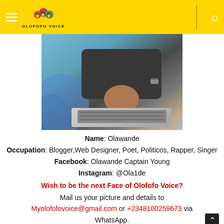Olofofo Voice
[Figure (photo): Person wearing black outfit using a laptop, partially visible, blurred background with blue fabric]
Name: Olawande
Occupation: Blogger,Web Designer, Poet, Politicos, Rapper, Singer
Facebook: Olawande Captain Young
Instagram: @Ola1de
Wish to be the next Face of Olofofo Voice?
Mail us your picture and details to Myolofofovoice@gmail.com or +2348100259673 via WhatsApp.